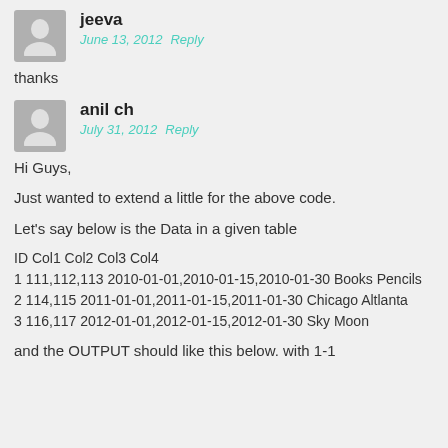jeeva
June 13, 2012  Reply
thanks
anil ch
July 31, 2012  Reply
Hi Guys,
Just wanted to extend a little for the above code.
Let's say below is the Data in a given table
ID Col1 Col2 Col3 Col4
1 111,112,113 2010-01-01,2010-01-15,2010-01-30 Books Pencils
2 114,115 2011-01-01,2011-01-15,2011-01-30 Chicago Altlanta
3 116,117 2012-01-01,2012-01-15,2012-01-30 Sky Moon
and the OUTPUT should like this below. with 1-1